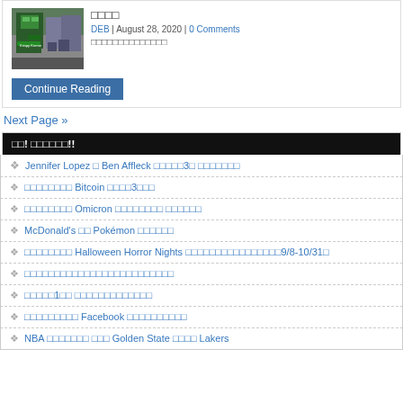[Figure (photo): Street photo showing a city block with a Krispy Kreme store and other buildings]
□□□□
DEB | August 28, 2020 | 0 Comments
□□□□□□□□□□□□□□
Continue Reading
Next Page »
□□! □□□□□□!!
Jennifer Lopez □ Ben Affleck □□□□□3□ □□□□□□□
□□□□□□□□ Bitcoin □□□□3□□□
□□□□□□□□ Omicron □□□□□□□□ □□□□□□
McDonald's □□ Pokémon □□□□□□
□□□□□□□□ Halloween Horror Nights □□□□□□□□□□□□□□□□9/8-10/31□
□□□□□□□□□□□□□□□□□□□□□□□□□
□□□□□1□□ □□□□□□□□□□□□□
□□□□□□□□□ Facebook □□□□□□□□□□
NBA □□□□□□□ □□□ Golden State □□□□ Lakers